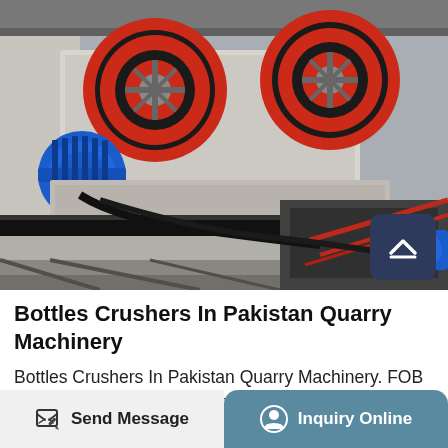[Figure (photo): Industrial quarry machinery with large red and black flywheels, a blue electric motor, conveyor belts, and metal framework inside a warehouse or factory setting.]
Bottles Crushers In Pakistan Quarry Machinery
Bottles Crushers In Pakistan Quarry Machinery. FOB Reference Price Get Latest Price We have Bottles Crushers In Pakistan Quarry Machinery,Plastic crusher machine for sale in pakistan ball mill is the key equipment for grinding